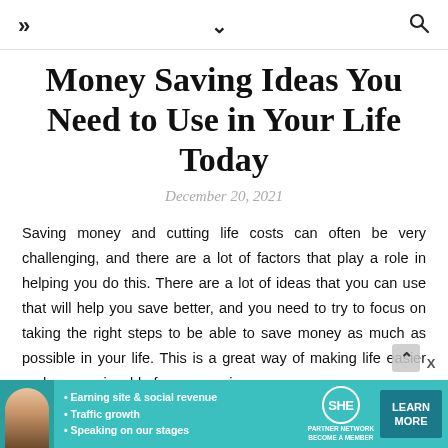» ˅ 🔍
Money Saving Ideas You Need to Use in Your Life Today
December 20, 2021
Saving money and cutting life costs can often be very challenging, and there are a lot of factors that play a role in helping you do this. There are a lot of ideas that you can use that will help you save better, and you need to try to focus on taking the right steps to be able to save money as much as possible in your life. This is a great way of making life easier and more enjoyable for you movin
[Figure (infographic): Advertisement banner for SHE Partner Network with photo of woman, bullet points about Earning site & social revenue, Traffic growth, Speaking on our stages, SHE logo, and LEARN MORE button]